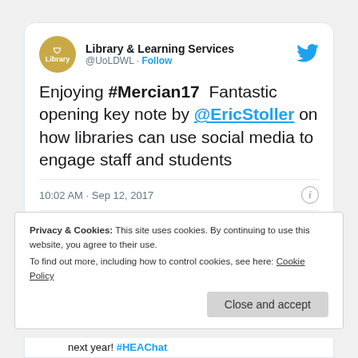[Figure (screenshot): Screenshot of a Twitter/X post by Library & Learning Services (@UoLDWL) with Follow link and Twitter bird logo. Tweet reads: 'Enjoying #Mercian17 Fantastic opening key note by @EricStoller on how libraries can use social media to engage staff and students'. Timestamp: 10:02 AM · Sep 12, 2017. Actions: 2 likes, Reply, Copy link.]
Privacy & Cookies: This site uses cookies. By continuing to use this website, you agree to their use.
To find out more, including how to control cookies, see here: Cookie Policy
next year! #HEAChat